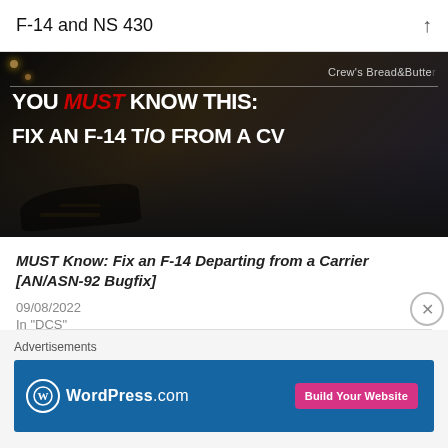F-14 and NS 430
[Figure (screenshot): Dark thumbnail image showing an F-14 aircraft on a carrier deck at night with overlaid text: 'Crew's Bread&Butter', 'YOU MUST KNOW THIS:', 'FIX AN F-14 T/O FROM A CV']
MUST Know: Fix an F-14 Departing from a Carrier [AN/ASN-92 Bugfix]
09/08/2022
In "DCS"
Advertisements
[Figure (screenshot): WordPress.com advertisement banner with blue background, WordPress logo, and 'Build Your Website' pink button]